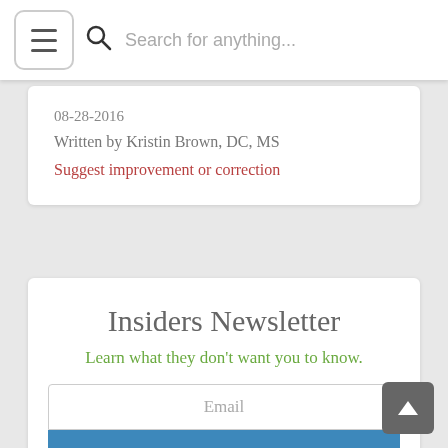Search for anything...
08-28-2016
Written by Kristin Brown, DC, MS
Suggest improvement or correction
Insiders Newsletter
Learn what they don't want you to know.
Email
Add Me